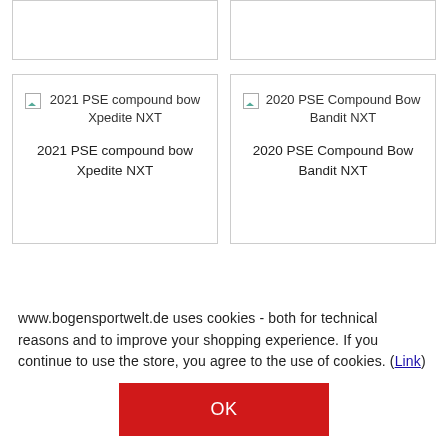[Figure (other): Partial product card stubs cut off at top of page, showing bottom edges of two cards with borders]
[Figure (photo): Product card with broken image placeholder: '2021 PSE compound bow Xpedite NXT']
2021 PSE compound bow Xpedite NXT
[Figure (photo): Product card with broken image placeholder: '2020 PSE Compound Bow Bandit NXT']
2020 PSE Compound Bow Bandit NXT
www.bogensportwelt.de uses cookies - both for technical reasons and to improve your shopping experience. If you continue to use the store, you agree to the use of cookies. (Link)